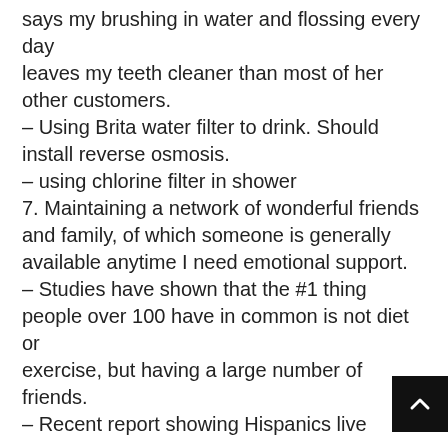says my brushing in water and flossing every day leaves my teeth cleaner than most of her other customers.
– Using Brita water filter to drink. Should install reverse osmosis.
– using chlorine filter in shower
7. Maintaining a network of wonderful friends and family, of which someone is generally available anytime I need emotional support.
– Studies have shown that the #1 thing people over 100 have in common is not diet or exercise, but having a large number of friends.
– Recent report showing Hispanics live